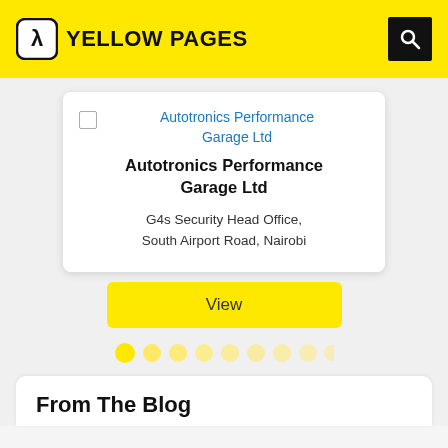YELLOW PAGES
Autotronics Performance Garage Ltd
Autotronics Performance Garage Ltd
G4s Security Head Office, South Airport Road, Nairobi
View
From The Blog